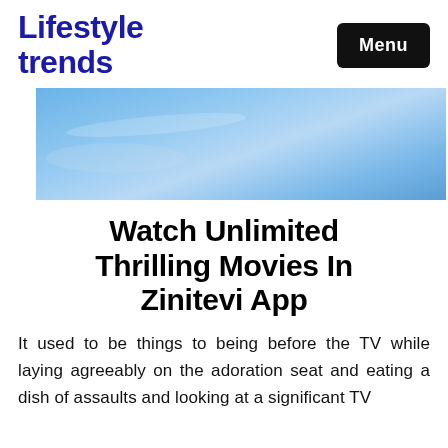Lifestyle trends
[Figure (photo): Blue sky with faint cloud streaks, used as a hero banner image]
Watch Unlimited Thrilling Movies In Zinitevi App
It used to be things to being before the TV while laying agreeably on the adoration seat and eating a dish of assaults and looking at a significant TV